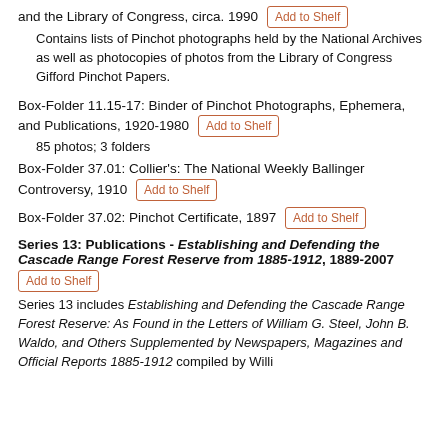and the Library of Congress, circa. 1990
Contains lists of Pinchot photographs held by the National Archives as well as photocopies of photos from the Library of Congress Gifford Pinchot Papers.
Box-Folder 11.15-17: Binder of Pinchot Photographs, Ephemera, and Publications, 1920-1980
85 photos; 3 folders
Box-Folder 37.01: Collier's: The National Weekly Ballinger Controversy, 1910
Box-Folder 37.02: Pinchot Certificate, 1897
Series 13: Publications - Establishing and Defending the Cascade Range Forest Reserve from 1885-1912, 1889-2007
Series 13 includes Establishing and Defending the Cascade Range Forest Reserve: As Found in the Letters of William G. Steel, John B. Waldo, and Others Supplemented by Newspapers, Magazines and Official Reports 1885-1912 compiled by Willi...